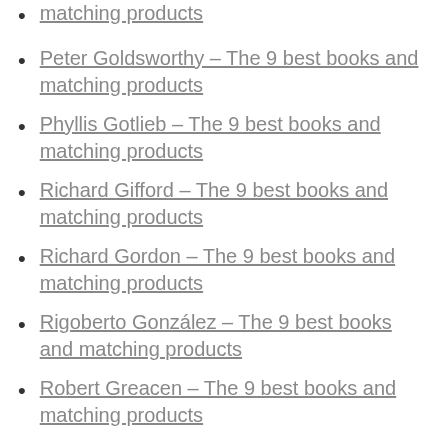matching products
Peter Goldsworthy – The 9 best books and matching products
Phyllis Gotlieb – The 9 best books and matching products
Richard Gifford – The 9 best books and matching products
Richard Gordon – The 9 best books and matching products
Rigoberto González – The 9 best books and matching products
Robert Greacen – The 9 best books and matching products